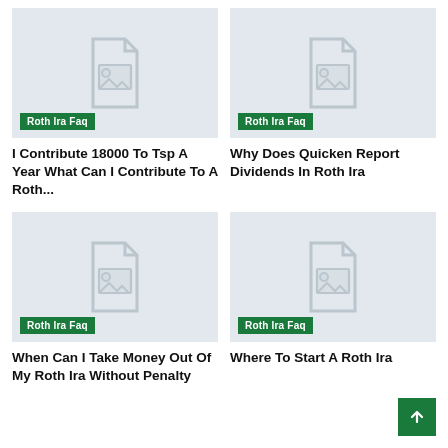[Figure (illustration): Placeholder image with document/photo icon on light blue-grey background with green 'Roth Ira Faq' tag]
I Contribute 18000 To Tsp A Year What Can I Contribute To A Roth...
[Figure (illustration): Placeholder image with document/photo icon on light blue-grey background with green 'Roth Ira Faq' tag]
Why Does Quicken Report Dividends In Roth Ira
[Figure (illustration): Placeholder image with document/photo icon on light blue-grey background with green 'Roth Ira Faq' tag]
When Can I Take Money Out Of My Roth Ira Without Penalty
[Figure (illustration): Placeholder image with document/photo icon on light blue-grey background with green 'Roth Ira Faq' tag]
Where To Start A Roth Ira